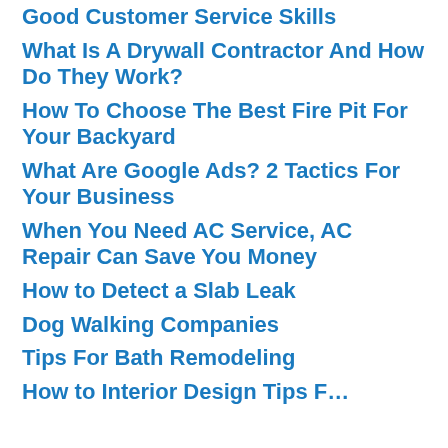Good Customer Service Skills
What Is A Drywall Contractor And How Do They Work?
How To Choose The Best Fire Pit For Your Backyard
What Are Google Ads? 2 Tactics For Your Business
When You Need AC Service, AC Repair Can Save You Money
How to Detect a Slab Leak
Dog Walking Companies
Tips For Bath Remodeling
How to Interior Design: Tips F…